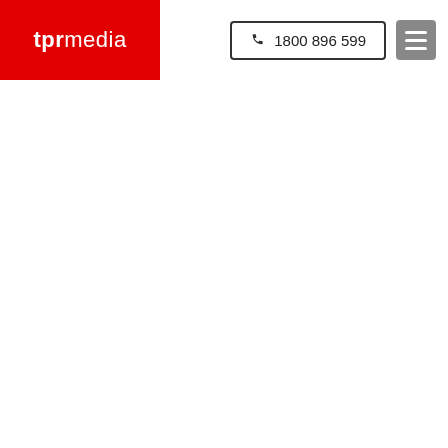[Figure (logo): tpr media logo — bold 'tpr' in white on red background, followed by 'media' in regular white text]
1800 896 599 (phone button) and hamburger menu button